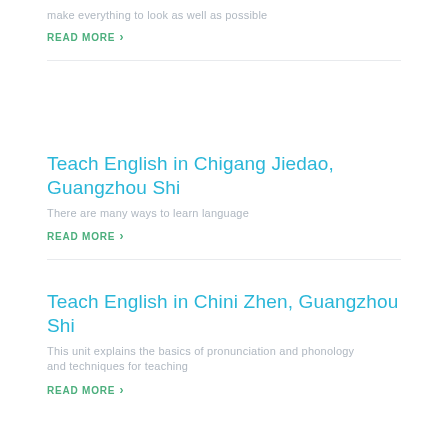make everything to look as well as possible
READ MORE
Teach English in Chigang Jiedao, Guangzhou Shi
There are many ways to learn language
READ MORE
Teach English in Chini Zhen, Guangzhou Shi
This unit explains the basics of pronunciation and phonology and techniques for teaching
READ MORE